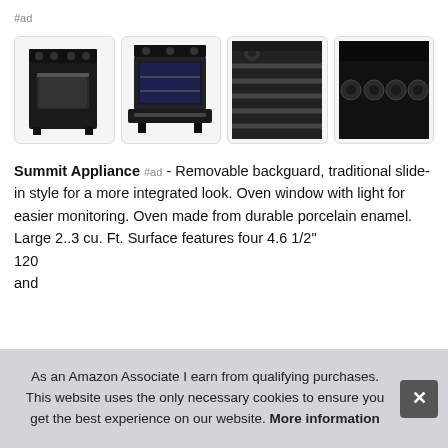#ad
[Figure (photo): Four product images of a black Summit Appliance range/oven: full range exterior, open oven door interior, close-up of grates/burners, and close-up of burner knobs]
Summit Appliance #ad - Removable backguard, traditional slide-in style for a more integrated look. Oven window with light for easier monitoring. Oven made from durable porcelain enamel. Large 2..3 cu. Ft. Surface features four 4.6 1/2" 120 and
As an Amazon Associate I earn from qualifying purchases. This website uses the only necessary cookies to ensure you get the best experience on our website. More information